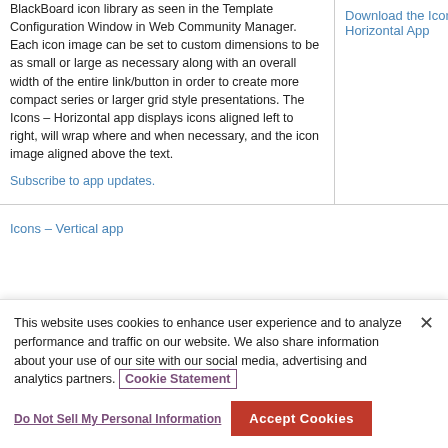BlackBoard icon library as seen in the Template Configuration Window in Web Community Manager. Each icon image can be set to custom dimensions to be as small or large as necessary along with an overall width of the entire link/button in order to create more compact series or larger grid style presentations. The Icons – Horizontal app displays icons aligned left to right, will wrap where and when necessary, and the icon image aligned above the text.
Download the Icons – Horizontal App
Subscribe to app updates.
Icons – Vertical app
This website uses cookies to enhance user experience and to analyze performance and traffic on our website. We also share information about your use of our site with our social media, advertising and analytics partners. Cookie Statement
Do Not Sell My Personal Information
Accept Cookies